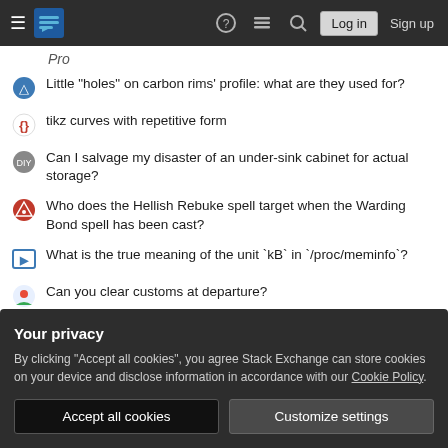Stack Exchange navigation bar with Log in and Sign up buttons
Pro
Little "holes" on carbon rims' profile: what are they used for?
tikz curves with repetitive form
Can I salvage my disaster of an under-sink cabinet for actual storage?
Who does the Hellish Rebuke spell target when the Warding Bond spell has been cast?
What is the true meaning of the unit `kB` in `/proc/meminfo`?
Can you clear customs at departure?
Do Ubuntu releases "pin" a specific Python minor version (e.g. 3.9)?
What are the means Russia uses to prevent emigration out of Russia?
Your privacy
By clicking "Accept all cookies", you agree Stack Exchange can store cookies on your device and disclose information in accordance with our Cookie Policy.
Accept all cookies    Customize settings